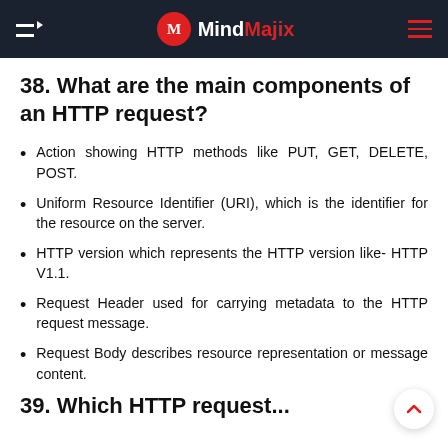MindMajix
38. What are the main components of an HTTP request?
Action showing HTTP methods like PUT, GET, DELETE, POST.
Uniform Resource Identifier (URI), which is the identifier for the resource on the server.
HTTP version which represents the HTTP version like- HTTP V1.1.
Request Header used for carrying metadata to the HTTP request message.
Request Body describes resource representation or message content.
39. Which HTTP request...